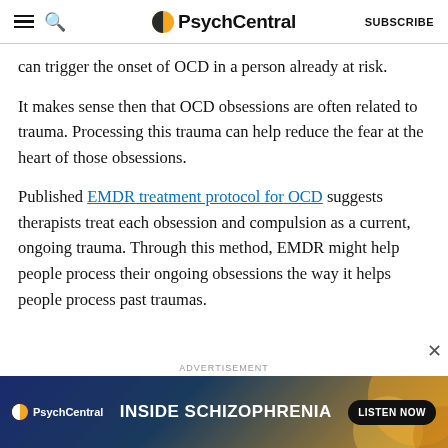PsychCentral | SUBSCRIBE
can trigger the onset of OCD in a person already at risk.
It makes sense then that OCD obsessions are often related to trauma. Processing this trauma can help reduce the fear at the heart of those obsessions.
Published EMDR treatment protocol for OCD suggests therapists treat each obsession and compulsion as a current, ongoing trauma. Through this method, EMDR might help people process their ongoing obsessions the way it helps people process past traumas.
[Figure (screenshot): Advertisement banner for PsychCentral's 'Inside Schizophrenia' podcast with a 'Listen Now' button on a dark blue and orange background.]